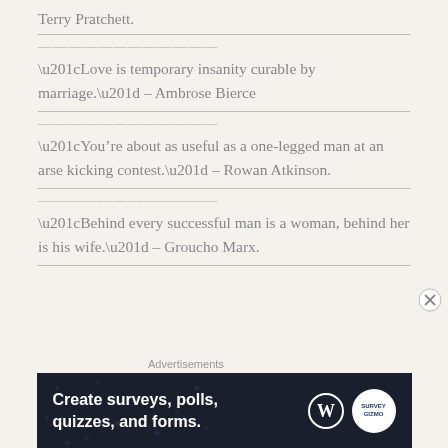Terry Pratchett.
“Love is temporary insanity curable by marriage.” – Ambrose Bierce
“You’re about as useful as a one-legged man at an arse kicking contest.” – Rowan Atkinson.
“Behind every successful man is a woman, behind her is his wife.” – Groucho Marx.
[Figure (other): Advertisement banner: 'Create surveys, polls, quizzes, and forms.' with WordPress and SurveyGizmo logos on dark navy background]